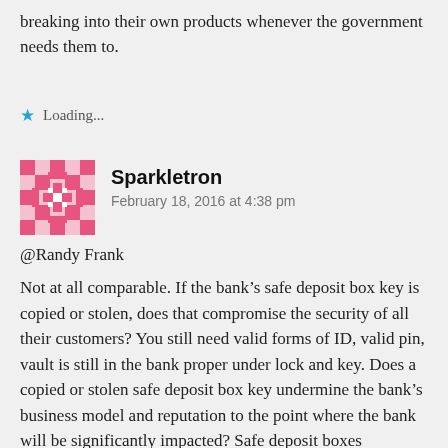breaking into their own products whenever the government needs them to.
Loading...
Sparkletron
February 18, 2016 at 4:38 pm
@Randy Frank
Not at all comparable. If the bank’s safe deposit box key is copied or stolen, does that compromise the security of all their customers? You still need valid forms of ID, valid pin, vault is still in the bank proper under lock and key. Does a copied or stolen safe deposit box key undermine the bank’s business model and reputation to the point where the bank will be significantly impacted? Safe deposit boxes